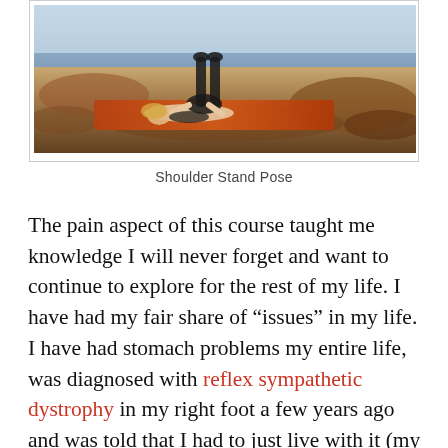[Figure (photo): A person performing a Shoulder Stand Pose (yoga) on an orange mat, lying on their back with legs raised vertically, outdoors on rocky terrain near water with a pale blue sky in the background.]
Shoulder Stand Pose
The pain aspect of this course taught me knowledge I will never forget and want to continue to explore for the rest of my life. I have had my fair share of “issues” in my life. I have had stomach problems my entire life, was diagnosed with reflex sympathetic dystrophy in my right foot a few years ago and was told that I had to just live with it (my foot was blue, see through, freezing cold and I had a limp) and just recently had two bulging discs in my low back. I am a very willful person so I